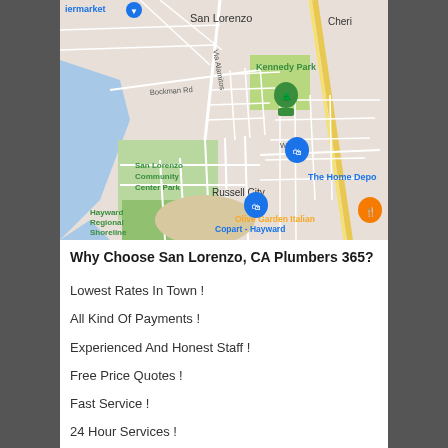[Figure (map): Google Maps showing San Lorenzo area in California, featuring landmarks: Kennedy Park, San Lorenzo Community Center Park, Copart - Hayward, The Home Depot, Russell City, Olive Garden Italian, Hayward Regional Shoreline, with roads including Bockman Rd, Via Alamitos, W A St]
Why Choose San Lorenzo, CA Plumbers 365?
Lowest Rates In Town !
All Kind Of Payments !
Experienced And Honest Staff !
Free Price Quotes !
Fast Service !
24 Hour Services !